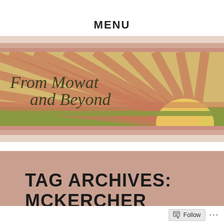MENU
[Figure (illustration): Blog banner image with sunburst design in warm earth tones (orange/red rays on yellow-green background) with text 'From Mowat and Beyond' in decorative serif font]
TAG ARCHIVES: MCKERCHER
Follow ...